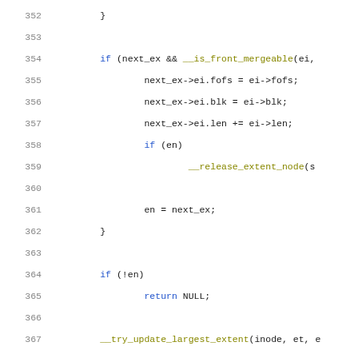352: }
353: (blank)
354: if (next_ex && __is_front_mergeable(ei,
355:     next_ex->ei.fofs = ei->fofs;
356:     next_ex->ei.blk = ei->blk;
357:     next_ex->ei.len += ei->len;
358:     if (en)
359:         __release_extent_node(s...
360: (blank)
361:         en = next_ex;
362: }
363: (blank)
364: if (!en)
365:     return NULL;
366: (blank)
367: __try_update_largest_extent(inode, et, e...
368: (blank)
369: spin_lock(&sbi->extent_lock);
370: if (!list_empty(&en->list)) {
371:     list_move_tail(&en->list, &sbi-...
372:     et->cached_en = en;
373: }